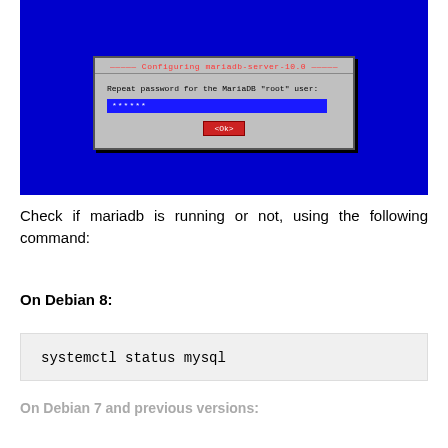[Figure (screenshot): Terminal/dialog screenshot on blue background. A gray dialog box titled 'Configuring mariadb-server-10.0' in red monospace text, with label 'Repeat password for the MariaDB "root" user:', a blue input field showing '******', and a red <Ok> button.]
Check if mariadb is running or not, using the following command:
On Debian 8:
systemctl status mysql
On Debian 7 and previous versions: